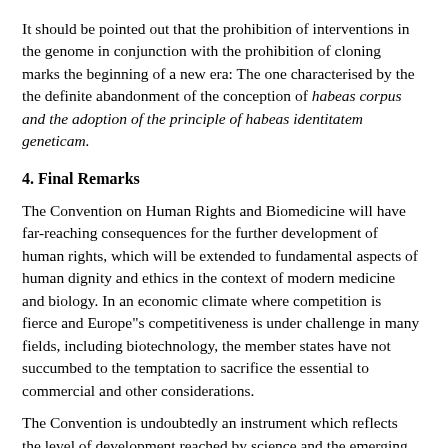It should be pointed out that the prohibition of interventions in the genome in conjunction with the prohibition of cloning marks the beginning of a new era: The one characterised by the the definite abandonment of the conception of habeas corpus and the adoption of the principle of habeas identitatem geneticam.
4. Final Remarks
The Convention on Human Rights and Biomedicine will have far-reaching consequences for the further development of human rights, which will be extended to fundamental aspects of human dignity and ethics in the context of modern medicine and biology. In an economic climate where competition is fierce and Europe"s competitiveness is under challenge in many fields, including biotechnology, the member states have not succumbed to the temptation to sacrifice the essential to commercial and other considerations.
The Convention is undoubtedly an instrument which reflects the level of development reached by science and the emerging consensus as to the the social implications thereof in the Member States of the Council of Europe. It deals only with certain ethical aspects connected with human life and especially patient`s rights. The following issues have not been properly addressed in the Convnention: